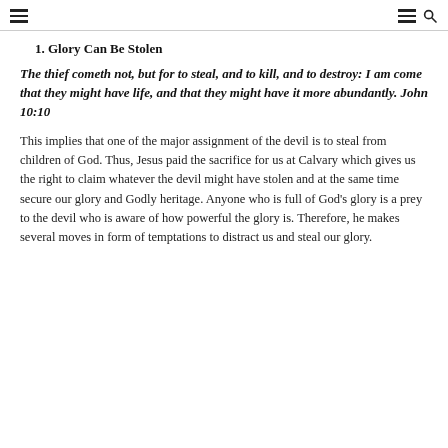Navigation header with hamburger menu icons and search icon
1. Glory Can Be Stolen
The thief cometh not, but for to steal, and to kill, and to destroy: I am come that they might have life, and that they might have it more abundantly. John 10:10
This implies that one of the major assignment of the devil is to steal from children of God. Thus, Jesus paid the sacrifice for us at Calvary which gives us the right to claim whatever the devil might have stolen and at the same time secure our glory and Godly heritage. Anyone who is full of God's glory is a prey to the devil who is aware of how powerful the glory is. Therefore, he makes several moves in form of temptations to distract us and steal our glory.